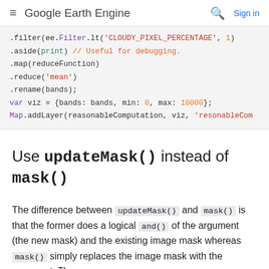≡ Google Earth Engine  🔍  Sign in
[Figure (screenshot): Code block showing JavaScript for Google Earth Engine with syntax highlighting: .filter(ee.Filter.lt('CLOUDY_PIXEL_PERCENTAGE', 1)) .aside(print) // Useful for debugging. .map(reduceFunction) .reduce('mean') .rename(bands); var viz = {bands: bands, min: 0, max: 10000}; Map.addLayer(reasonableComputation, viz, 'resonableCom]
Use updateMask() instead of mask()
The difference between updateMask() and mask() is that the former does a logical and() of the argument (the new mask) and the existing image mask whereas mask() simply replaces the image mask with the argument. The